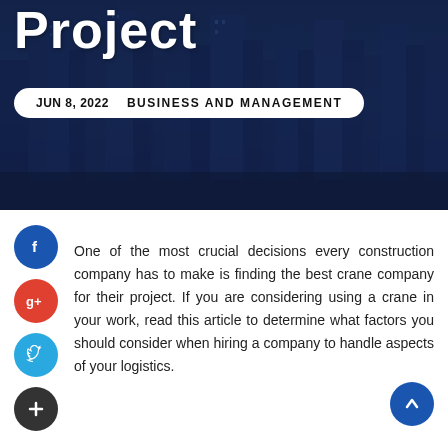[Figure (photo): Dark blue city skyline background with skyscrapers, used as hero header image]
Project
JUN 8, 2022   BUSINESS AND MANAGEMENT
[Figure (infographic): Social media share buttons: Facebook (blue), Google+ (red), Twitter (blue), Plus/Add (dark)]
One of the most crucial decisions every construction company has to make is finding the best crane company for their project. If you are considering using a crane in your work, read this article to determine what factors you should consider when hiring a company to handle aspects of your logistics.
[Figure (infographic): Scroll-to-top button (blue circle with upward arrow) in bottom right corner]